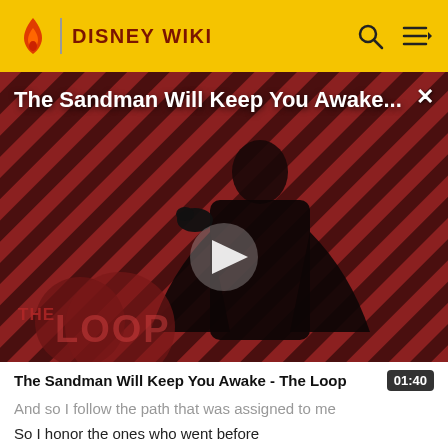DISNEY WIKI
[Figure (screenshot): Video thumbnail showing a dark-cloaked figure against a red and black diagonal striped background, with 'The Loop' logo in the bottom left. Title text 'The Sandman Will Keep You Awake...' displayed at top with a play button in the center.]
The Sandman Will Keep You Awake - The Loop
And so I follow the path that was assigned to me
So I honor the ones who went before
Oh, Ancestors, say you won't be blind to me
I pray to you be kind to me